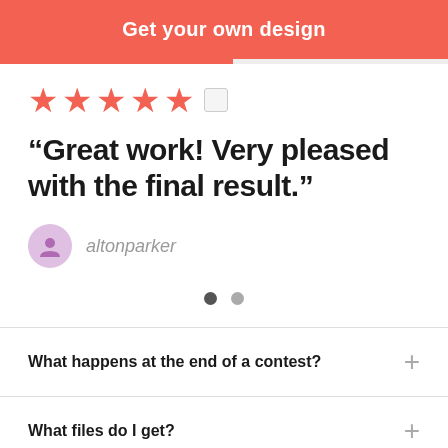Get your own design
[Figure (other): Five red star rating icons followed by a small gray square placeholder]
“Great work! Very pleased with the final result.”
altonparker
[Figure (other): Two pagination dots: one dark, one gray]
What happens at the end of a contest?
What files do I get?